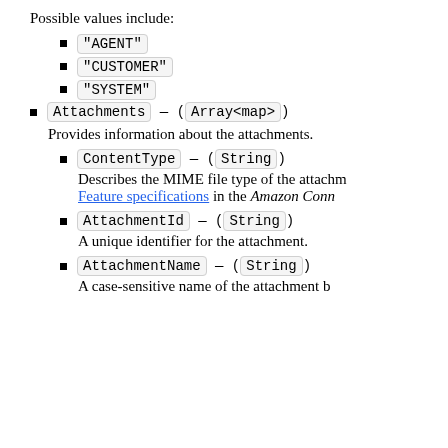Possible values include:
"AGENT"
"CUSTOMER"
"SYSTEM"
Attachments — (Array<map>)
Provides information about the attachments.
ContentType — (String)
Describes the MIME file type of the attachm Feature specifications in the Amazon Conn
AttachmentId — (String)
A unique identifier for the attachment.
AttachmentName — (String)
A case-sensitive name of the attachment b